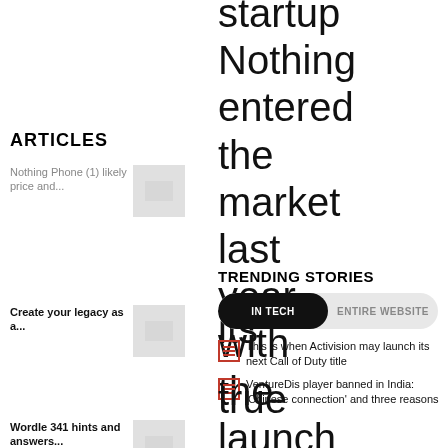startup Nothing entered the market last year with the launch of its true
ARTICLES
Nothing Phone (1) likely price and...
Create your legacy as a...
Wordle 341 hints and answers...
TRENDING STORIES
IN TECH | ENTIRE WEBSITE
This is when Activision may launch its next Call of Duty title
VentureDis player banned in India: 'Chinese connection' and three reasons